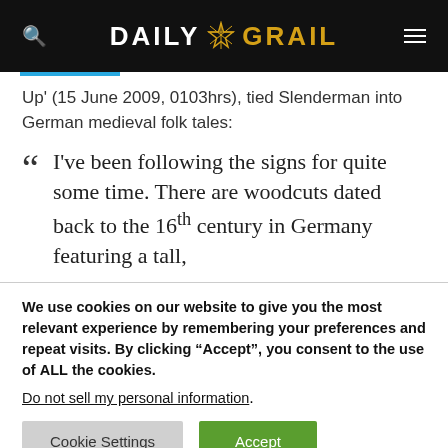DAILY GRAIL
Up' (15 June 2009, 0103hrs), tied Slenderman into German medieval folk tales:
I've been following the signs for quite some time. There are woodcuts dated back to the 16th century in Germany featuring a tall,
We use cookies on our website to give you the most relevant experience by remembering your preferences and repeat visits. By clicking “Accept”, you consent to the use of ALL the cookies.
Do not sell my personal information.